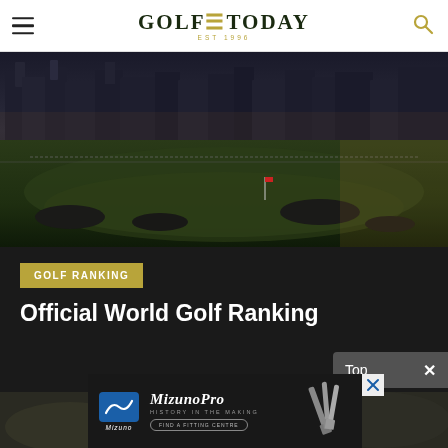Golf Today - navigation header with hamburger menu and search icon
[Figure (photo): Aerial view of St Andrews golf course at dusk with historic buildings in background]
GOLF RANKING
Official World Golf Ranking
[Figure (screenshot): Mizuno Pro advertisement - History in the Making - Find a Fitting Centre]
[Figure (photo): Partial background photo visible behind advertisement]